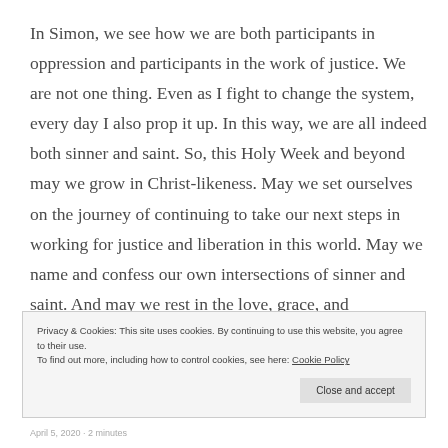In Simon, we see how we are both participants in oppression and participants in the work of justice. We are not one thing. Even as I fight to change the system, every day I also prop it up. In this way, we are all indeed both sinner and saint. So, this Holy Week and beyond may we grow in Christ-likeness. May we set ourselves on the journey of continuing to take our next steps in working for justice and liberation in this world. May we name and confess our own intersections of sinner and saint. And may we rest in the love, grace, and
Privacy & Cookies: This site uses cookies. By continuing to use this website, you agree to their use.
To find out more, including how to control cookies, see here: Cookie Policy
Close and accept
April 5, 2020 · 2 minutes